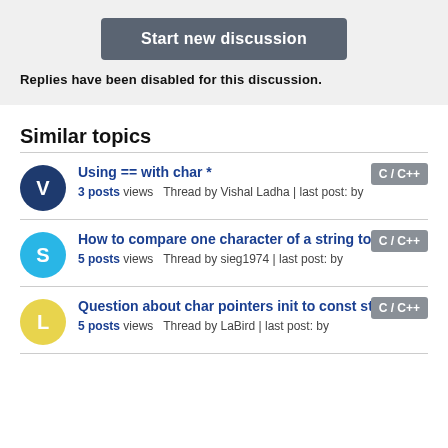Start new discussion
Replies have been disabled for this discussion.
Similar topics
Using == with char * | 3 posts views Thread by Vishal Ladha | last post: by | C/C++
How to compare one character of a string to a char? | 5 posts views Thread by sieg1974 | last post: by | C/C++
Question about char pointers init to const strings | 5 posts views Thread by LaBird | last post: by | C/C++